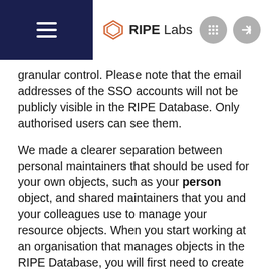RIPE Labs
granular control. Please note that the email addresses of the SSO accounts will not be publicly visible in the RIPE Database. Only authorised users can see them.
We made a clearer separation between personal maintainers that should be used for your own objects, such as your person object, and shared maintainers that you and your colleagues use to manage your resource objects. When you start working at an organisation that manages objects in the RIPE Database, you will first need to create a person object for yourself. This person object should be protected by a maintainer that only you know the credentials for. We created a brand